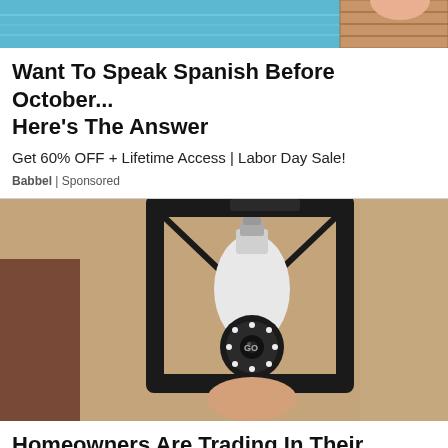[Figure (photo): Partial image of a pool/dock scene with teal water and wooden dock, partially cropped at top]
Want To Speak Spanish Before October... Here's The Answer
Get 60% OFF + Lifetime Access | Labor Day Sale!
Babbel | Sponsored
[Figure (photo): Photo of a security camera shaped like a light bulb installed in an outdoor black iron lantern fixture mounted on a textured stucco wall]
Homeowners Are Trading In Their Doorbell Cams For This